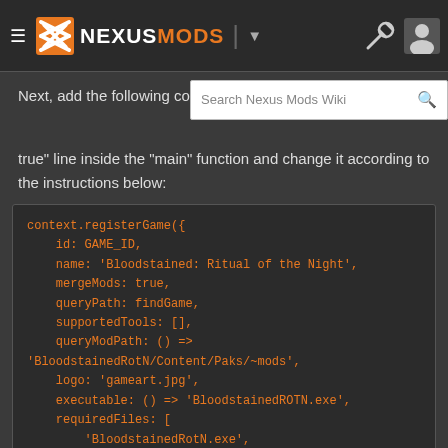NEXUSMODS
Next, add the following code true" line inside the "main" function and change it according to the instructions below:
[Figure (screenshot): Search bar overlay showing 'Search Nexus Mods Wiki' input field with search icon]
[Figure (screenshot): Code block showing context.registerGame({ id: GAME_ID, name: 'Bloodstained: Ritual of the Night', mergeMods: true, queryPath: findGame, supportedTools: [], queryModPath: () => 'BloodstainedRotN/Content/Paks/~mods', logo: 'gameart.jpg', executable: () => 'BloodstainedROTN.exe', requiredFiles: [ 'BloodstainedRotN.exe', 'BloodstainedROTN/Binaries/Win64/BloodstainedRotN-Win64-Shipping.exe' ], setup: prepareForModding, environment: { SteamAPPId: STEAMAPP_ID,]